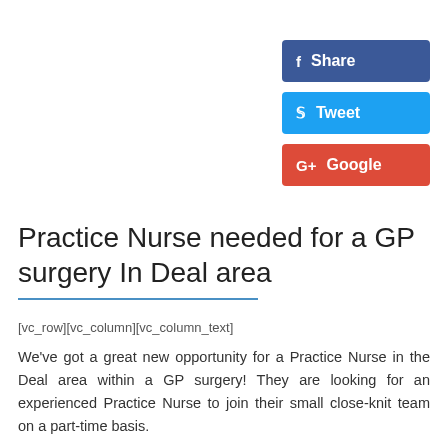[Figure (infographic): Social media share buttons: Facebook Share (dark blue), Tweet (light blue), Google (red)]
Practice Nurse needed for a GP surgery In Deal area
[vc_row][vc_column][vc_column_text]
We've got a great new opportunity for a Practice Nurse in the Deal area within a GP surgery! They are looking for an experienced Practice Nurse to join their small close-knit team on a part-time basis.